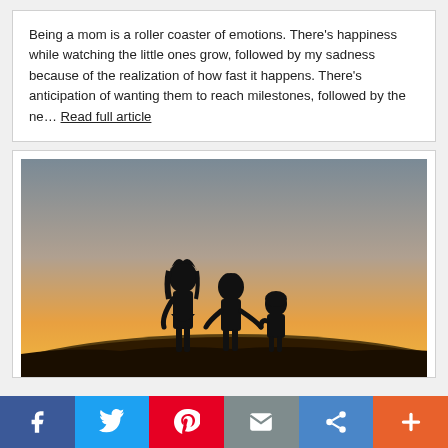Being a mom is a roller coaster of emotions. There's happiness while watching the little ones grow, followed by my sadness because of the realization of how fast it happens. There's anticipation of wanting them to reach milestones, followed by the ne... Read full article
[Figure (photo): Silhouette of three children (two girls and a toddler) standing on a grassy hill at sunset, holding hands, viewed from behind. Warm orange and yellow sky in the background.]
Social share bar: Facebook, Twitter, Pinterest, Email, Share, Plus